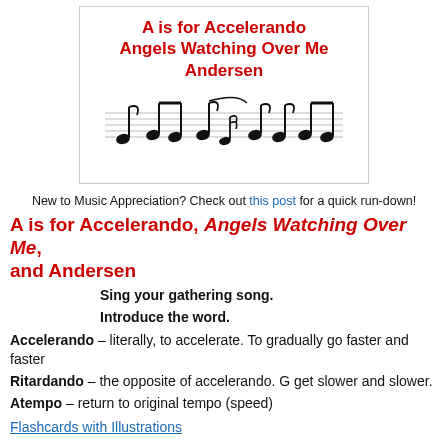[Figure (illustration): Book cover image showing title 'A is for Accelerando, Angels Watching Over Me, Andersen' in red bold text with musical notes on a staff below]
New to Music Appreciation? Check out this post for a quick run-down!
A is for Accelerando, Angels Watching Over Me, and Andersen
Sing your gathering song.
Introduce the word.
Accelerando – literally, to accelerate. To gradually go faster and faster
Ritardando – the opposite of accelerando. G get slower and slower.
Atempo – return to original tempo (speed)
Flashcards with Illustrations